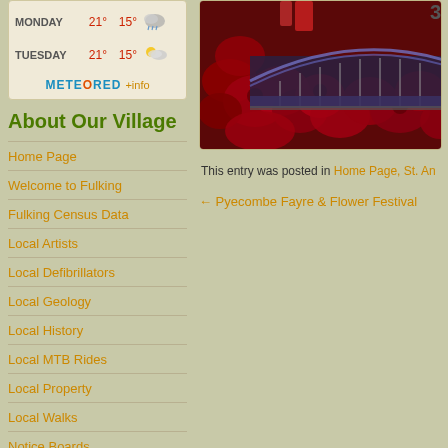[Figure (other): Weather widget showing Monday 21° 15° with rain icon and Tuesday 21° 15° with partly cloudy icon, plus METEORED +info branding]
About Our Village
Home Page
Welcome to Fulking
Fulking Census Data
Local Artists
Local Defibrillators
Local Geology
Local History
Local MTB Rides
Local Property
Local Walks
Notice Boards
Mobile reception
Fulking Photos
A Walk Down The Street
House Map
How to Find Us
Community Bus Services
[Figure (photo): Photo of red roses with what appears to be stadium/bridge structure visible in the background, plus a number 31 visible at top right]
This entry was posted in Home Page, St. An
← Pyecombe Fayre & Flower Festival